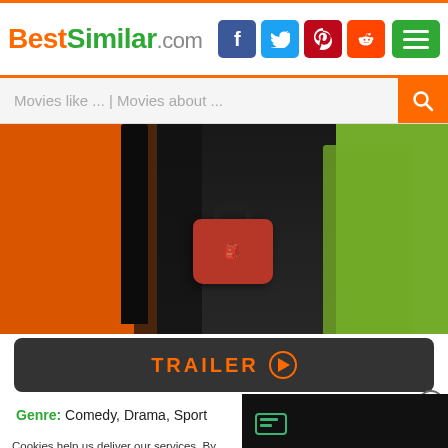BestSimilar.com
Movies like ... | Movies about ...
[Figure (photo): Movie scene showing people with colorful outfits and a red duffel bag; orange, black and green background]
TRAILER
Genre: Comedy, Drama, Sport
Country: Germany, USA
Duration: 103 min.
Story: Haley is a naturally gifted ... behavior, the teen seems intent o...
Cookies help us deliver our services. By us... you agree to our use of cookies as describe...
Preferences
Accept